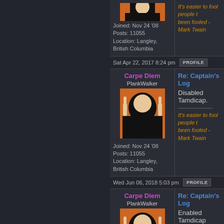Joined: Nov 24 '08
Posts: 11055
Location: Langley, British Columbia
Sat Apr 22, 2017 8:24 pm
Re: Captain's Log
Disabled Tamdicap.
Carpe Diem
PlankWalker
Joined: Nov 24 '08
Posts: 11055
Location: Langley, British Columbia
Wed Jun 06, 2018 5:03 pm
Re: Captain's Log
Enabled Tamdicap
Carpe Diem
PlankWalker
Joined: Nov 24 '08
Posts: 11055
Location: Langley, British